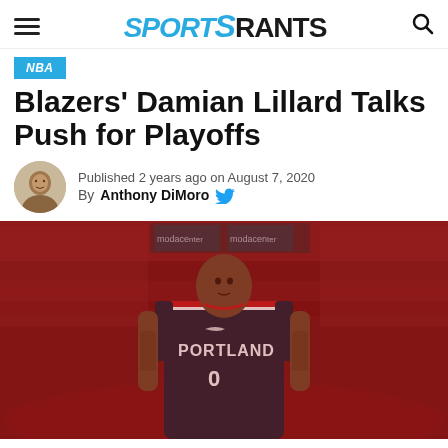SPORTSRANTS
NBA
Blazers' Damian Lillard Talks Push for Playoffs
Published 2 years ago on August 7, 2020
By Anthony DiMoro
[Figure (photo): Damian Lillard in Portland Trail Blazers jersey standing in front of a red-tinted Moda Center arena crowd background]